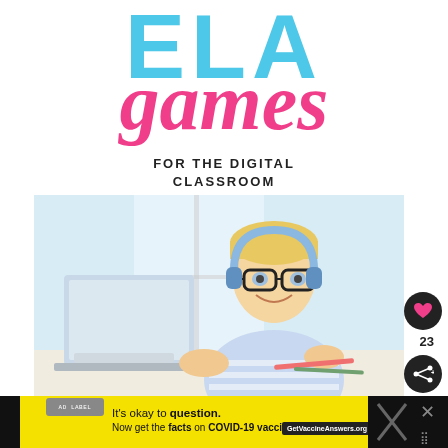ELA
games
FOR THE DIGITAL CLASSROOM
[Figure (photo): Young smiling boy with black glasses and blue headphones sitting at a laptop computer, wearing a blue and white striped shirt]
WWW.DIFFERENTIATEDTEACHING.COM
It's okay to question. Now get the facts on COVID-19 vaccines GetVaccineAnswers.org